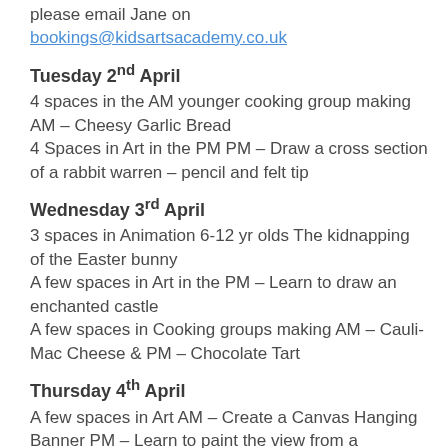please email Jane on bookings@kidsartsacademy.co.uk
Tuesday 2nd April
4 spaces in the AM younger cooking group making AM – Cheesy Garlic Bread
4 Spaces in Art in the PM PM – Draw a cross section of a rabbit warren – pencil and felt tip
Wednesday 3rd April
3 spaces in Animation 6-12 yr olds The kidnapping of the Easter bunny
A few spaces in Art in the PM – Learn to draw an enchanted castle
A few spaces in Cooking groups making AM – Cauli-Mac Cheese & PM – Chocolate Tart
Thursday 4th April
A few spaces in Art AM – Create a Canvas Hanging Banner PM – Learn to paint the view from a submarine